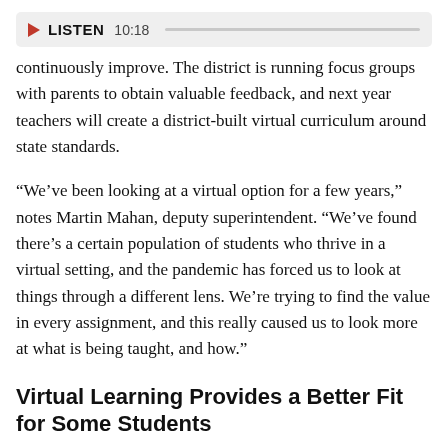[Figure (other): Audio player bar with play button, LISTEN label, time 10:18, and progress track]
continuously improve. The district is running focus groups with parents to obtain valuable feedback, and next year teachers will create a district-built virtual curriculum around state standards.
"We've been looking at a virtual option for a few years," notes Martin Mahan, deputy superintendent. "We've found there's a certain population of students who thrive in a virtual setting, and the pandemic has forced us to look at things through a different lens. We're trying to find the value in every assignment, and this really caused us to look more at what is being taught, and how."
Virtual Learning Provides a Better Fit for Some Students
Fort Smith Public Schools is not alone. While many parents, students and teachers across the country have leapt at the